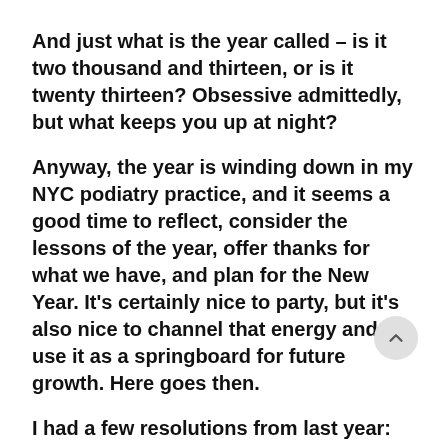And just what is the year called – is it two thousand and thirteen, or is it twenty thirteen?  Obsessive admittedly, but what keeps you up at night?
Anyway, the year is winding down in my NYC podiatry practice, and it seems a good time to reflect, consider the lessons of the year, offer thanks for what we have, and plan for the New Year.  It's certainly nice to party, but it's also nice to channel that energy and use it as a springboard for future growth.  Here goes then.
I had a few resolutions from last year:
Attend a celebration of the completion of a member of Talmudstudy in Cintre...